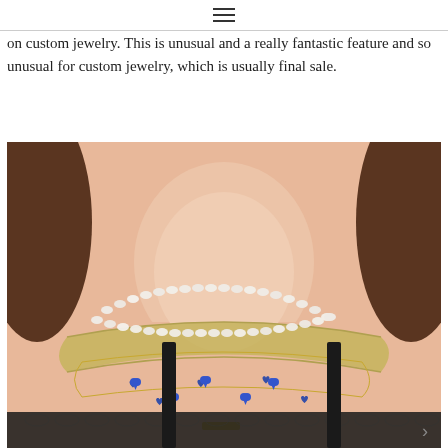☰
on custom jewelry. This is unusual and a really fantastic feature and so unusual for custom jewelry, which is usually final sale.
[Figure (photo): Close-up photo of a woman's neck and décolletage wearing three layered necklaces: a flat herringbone gold chain necklace, a beaded opal necklace, and a delicate chain with blue heart-shaped charms. The woman has brown hair and is wearing a black lace top.]